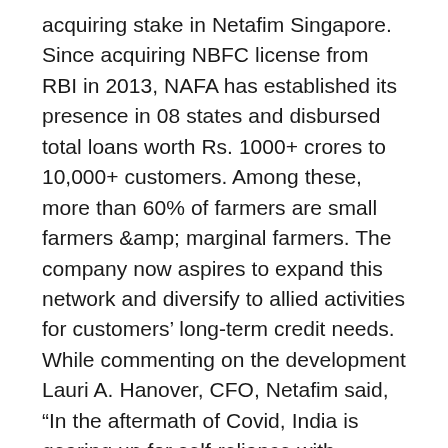acquiring stake in Netafim Singapore. Since acquiring NBFC license from RBI in 2013, NAFA has established its presence in 08 states and disbursed total loans worth Rs. 1000+ crores to 10,000+ customers. Among these, more than 60% of farmers are small farmers &amp; marginal farmers. The company now aspires to expand this network and diversify to allied activities for customers' long-term credit needs. While commenting on the development Lauri A. Hanover, CFO, Netafim said, “In the aftermath of Covid, India is gearing up for self-reliance with emphasis on the agri-rural economy and its rapid modernization. While the sector is still highly fragmented, the demand for credit in agriculture is largely unmet through formal financial institutions. Being the innovator of drip irrigation and the world leader in precision irrigation serving customers for more than 57 years across the globe, the equity infusion in NAFA is aligned with our core of supporting customers in adopting precision irrigation and automation solutions in agriculture. This equity infusion will